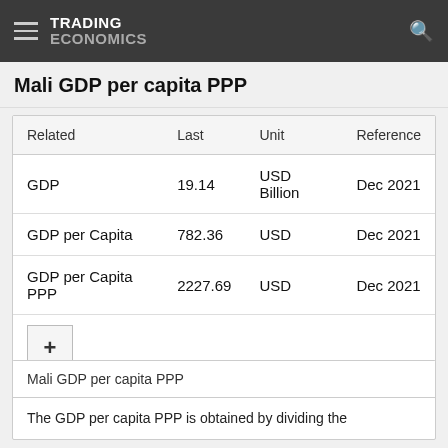TRADING ECONOMICS
Mali GDP per capita PPP
| Related | Last | Unit | Reference |
| --- | --- | --- | --- |
| GDP | 19.14 | USD Billion | Dec 2021 |
| GDP per Capita | 782.36 | USD | Dec 2021 |
| GDP per Capita PPP | 2227.69 | USD | Dec 2021 |
Mali GDP per capita PPP
The GDP per capita PPP is obtained by dividing the